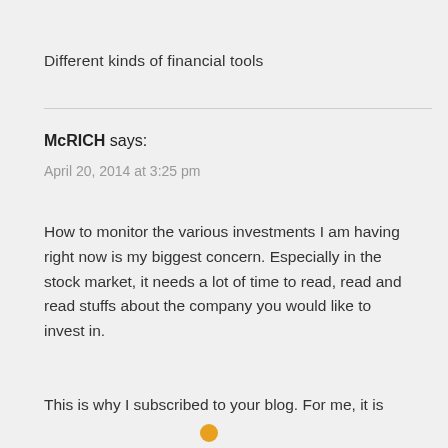Different kinds of financial tools
McRICH says:
April 20, 2014 at 3:25 pm
How to monitor the various investments I am having right now is my biggest concern. Especially in the stock market, it needs a lot of time to read, read and read stuffs about the company you would like to invest in.
This is why I subscribed to your blog. For me, it is